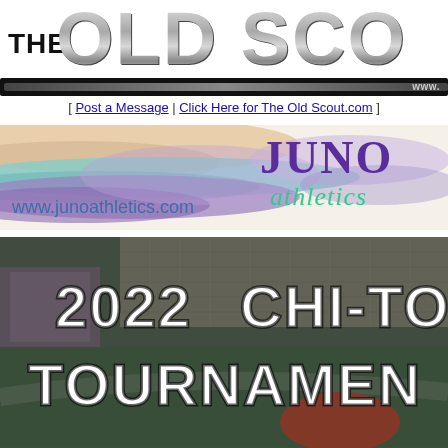THE OLD SCOUT www.
[ Post a Message | Click Here for The Old Scout.com ]
[Figure (logo): Juno Athletics banner advertisement with colorful abstract background (peach, teal, purple) and JUNO athletics logo text with www.junoathletics.com URL]
[Figure (photo): 2022 CHI-TOWN TOURNAMENT aerial satellite view of sports complex with large white bold text overlay reading '2022 CHI-TOWN TOURNAMENT']